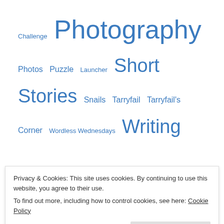Challenge Photography Photos Puzzle Launcher Short Stories Snails Tarryfail Tarryfail's Corner Wordless Wednesdays Writing
Email Subscription
Enter your email address to follow this blog and receive notifications of new posts by email.
Enter your email address
Privacy & Cookies: This site uses cookies. By continuing to use this website, you agree to their use.
To find out more, including how to control cookies, see here: Cookie Policy
Close and accept